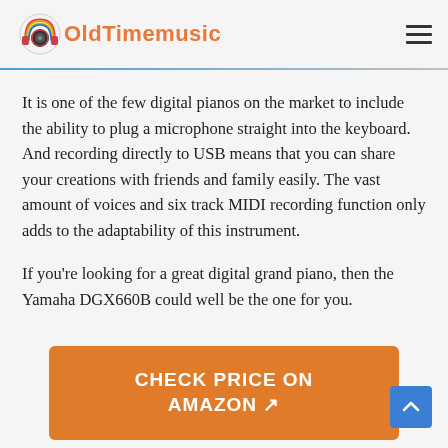OldTimemusic
It is one of the few digital pianos on the market to include the ability to plug a microphone straight into the keyboard. And recording directly to USB means that you can share your creations with friends and family easily. The vast amount of voices and six track MIDI recording function only adds to the adaptability of this instrument.
If you’re looking for a great digital grand piano, then the Yamaha DGX660B could well be the one for you.
[Figure (other): Orange button with white bold text reading CHECK PRICE ON AMAZON with arrow icon]